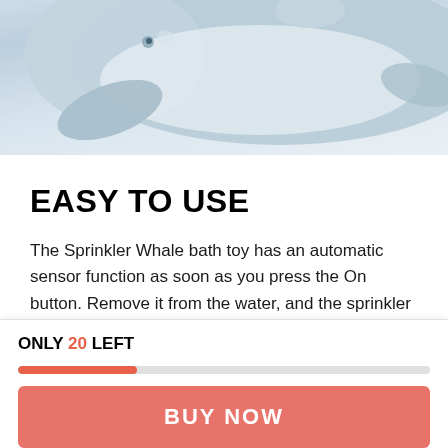[Figure (photo): Top-down partial view of a blue-grey whale-shaped bath toy (Sprinkler Whale) on a light grey/white background]
EASY TO USE
The Sprinkler Whale bath toy has an automatic sensor function as soon as you press the On button. Remove it from the water, and the sprinkler will stop.
Simply install 3X AAA batteries (not included) in the bottom
ONLY 20 LEFT
BUY NOW